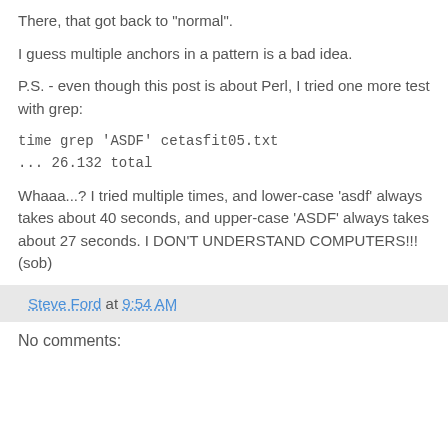There, that got back to "normal".
I guess multiple anchors in a pattern is a bad idea.
P.S. - even though this post is about Perl, I tried one more test with grep:
time grep 'ASDF' cetasfit05.txt
... 26.132 total
Whaaa...? I tried multiple times, and lower-case 'asdf' always takes about 40 seconds, and upper-case 'ASDF' always takes about 27 seconds. I DON'T UNDERSTAND COMPUTERS!!! (sob)
Steve Ford at 9:54 AM
No comments: